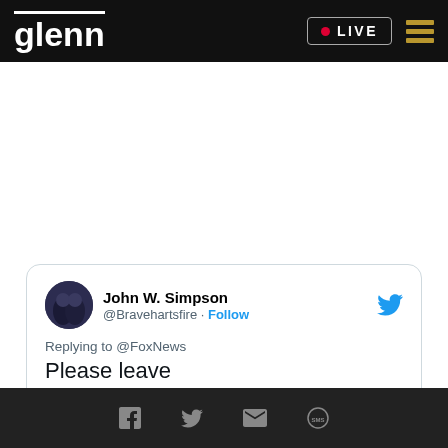glenn | LIVE
[Figure (screenshot): Tweet from John W. Simpson @Bravehartsfire replying to @FoxNews: 'Please leave' — 5:32 AM · Jul 5, 2022 from Anaheim, CA]
Social share icons: Facebook, Twitter, Email, SMS